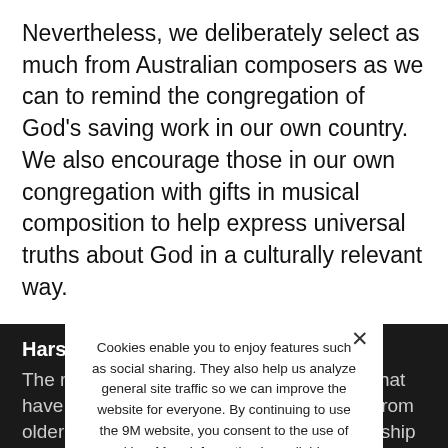Nevertheless, we deliberately select as much from Australian composers as we can to remind the congregation of God's saving work in our own country. We also encourage those in our own congregation with gifts in musical composition to help express universal truths about God in a culturally relevant way.
Harshit Singh
The re... culturally relevant... songs that have good theology have been translated from older Western hymns or contemporary worship songs. So although th... might be faithful, the music is not indigenous and the local people find
Cookies enable you to enjoy features such as social sharing. They also help us analyze general site traffic so we can improve the website for everyone. By continuing to use the 9M website, you consent to the use of cookies. More information is available on our Privacy Policy.
I Agree